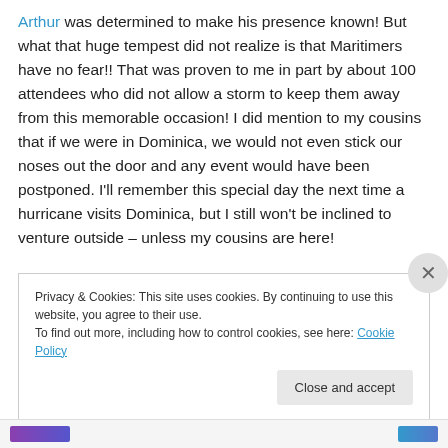Arthur was determined to make his presence known!  But what that huge tempest did not realize is that Maritimers have no fear!!  That was proven to me in part by about 100 attendees who did not allow a storm to keep them away from this memorable occasion!  I did mention to my cousins that if we were in Dominica, we would not even stick our noses out the door and any event would have been postponed.  I'll remember this special day the next time a hurricane visits Dominica, but I still won't be inclined to venture outside – unless my cousins are here!
Privacy & Cookies: This site uses cookies. By continuing to use this website, you agree to their use. To find out more, including how to control cookies, see here: Cookie Policy